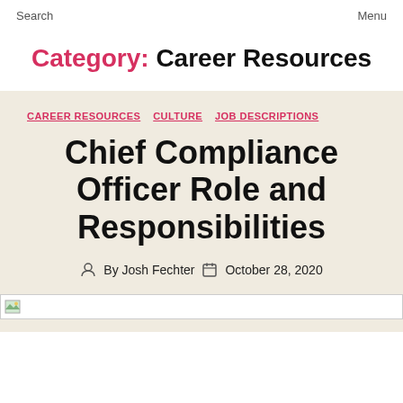Search    Menu
Category: Career Resources
CAREER RESOURCES   CULTURE   JOB DESCRIPTIONS
Chief Compliance Officer Role and Responsibilities
By Josh Fechter   October 28, 2020
[Figure (photo): Broken image placeholder at bottom of page]